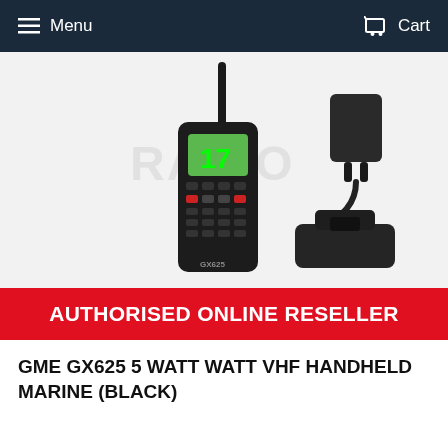Menu   Cart
[Figure (photo): GME GX625 handheld VHF marine radio (black) shown alongside a wall charger/adapter and a desktop charging cradle. The radio displays '17' on its green LCD screen. A watermark reading 'RADIO' is visible in the background.]
AUTHORISED ONLINE RESELLER
GME GX625 5 WATT WATT VHF HANDHELD MARINE (BLACK)